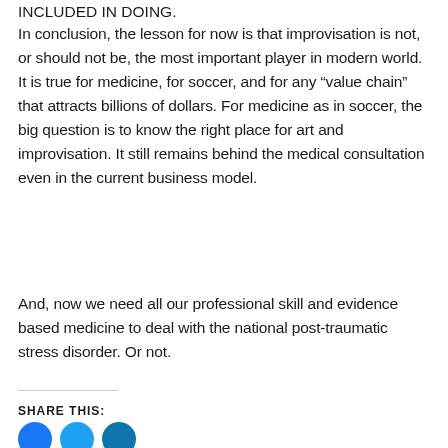INCLUDED IN DOING.
In conclusion, the lesson for now is that improvisation is not, or should not be, the most important player in modern world. It is true for medicine, for soccer, and for any “value chain” that attracts billions of dollars. For medicine as in soccer, the big question is to know the right place for art and improvisation. It still remains behind the medical consultation even in the current business model.
And, now we need all our professional skill and evidence based medicine to deal with the national post-traumatic stress disorder. Or not.
SHARE THIS: